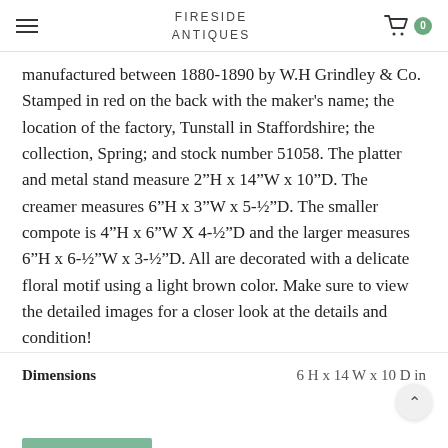FIRESIDE ANTIQUES
manufactured between 1880-1890 by W.H Grindley & Co. Stamped in red on the back with the maker's name; the location of the factory, Tunstall in Staffordshire; the collection, Spring; and stock number 51058. The platter and metal stand measure 2"H x 14"W x 10"D. The creamer measures 6"H x 3"W x 5-½"D. The smaller compote is 4"H x 6"W X 4-½"D and the larger measures 6"H x 6-½"W x 3-½"D. All are decorated with a delicate floral motif using a light brown color. Make sure to view the detailed images for a closer look at the details and condition!
Dimensions    6 H x 14 W x 10 D in